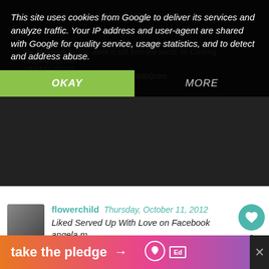This site uses cookies from Google to deliver its services and analyze traffic. Your IP address and user-agent are shared with Google for quality service, usage statistics, and to detect and address abuse.
OKAY
MORE
flowerchild  Thursday, October 11, 2012
Liked Served Up With Love on Facebook
angela m
flower_child_23(at)hotmail(dot)com
Reply
flowerchild  Thursday, October 11, 2012
already Liked Gooseberry Patch on Facebook
WHAT'S NEXT → Gooseberry Patch The...
take the pledge →